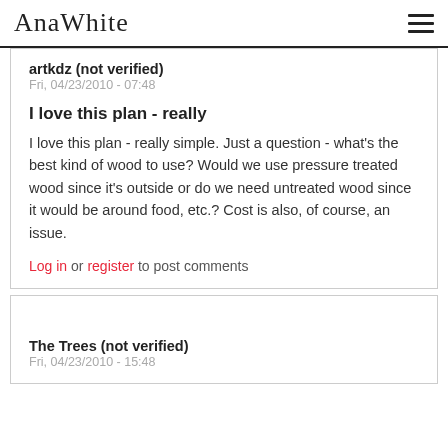AnaWhite
artkdz (not verified)
Fri, 04/23/2010 - 07:48
I love this plan - really
I love this plan - really simple. Just a question - what's the best kind of wood to use? Would we use pressure treated wood since it's outside or do we need untreated wood since it would be around food, etc.? Cost is also, of course, an issue.
Log in or register to post comments
The Trees (not verified)
Fri, 04/23/2010 - 15:48